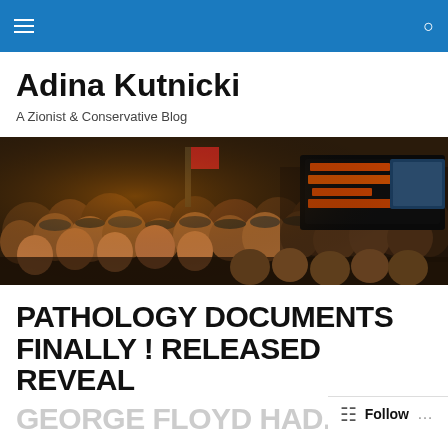Adina Kutnicki — navigation bar
Adina Kutnicki
A Zionist & Conservative Blog
[Figure (photo): Large crowd of people in military/olive-colored uniforms and berets gathered at what appears to be an outdoor event at the Western Wall plaza in Jerusalem. Hebrew text and digital signs visible in background.]
PATHOLOGY DOCUMENTS FINALLY ! RELEASED REVEAL
GEORGE FLOYD HAD...
Follow ...